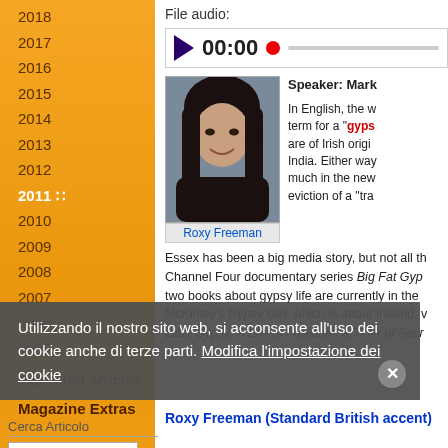2018
2017
2016
2015
2014
2013
2012
2011
2010
2009
2008
2007
2006
2005
Top rated articles
Magazine Extras
File audio:
[Figure (screenshot): Audio player with play button, 00:00 timer, red dot, and progress bar]
[Figure (photo): Photo of Roxy Freeman, a woman with long dark hair]
Roxy Freeman
Speaker: Mark
In English, the w... term for a "gyps..." are of Irish origi... India. Either way much in the new... eviction of a "tra...
Essex has been a big media story, but not all th... Channel Four documentary series Big Fat Gyp... two books about gypsy life are currently in the... McKinley's Gypsy Girl, which is about Ireland, v... Little Gypsy: A Life of Freedom, a Time of Secr...
Cerca Articolo
Numero
Utilizzando il nostro sito web, si acconsente all'uso dei cookie anche di terze parti. Modifica l'impostazione dei cookie
Roxy Freeman (Standard British accent)